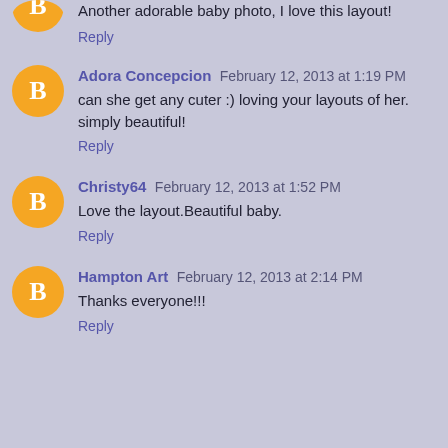Another adorable baby photo, I love this layout!
Reply
Adora Concepcion  February 12, 2013 at 1:19 PM
can she get any cuter :) loving your layouts of her. simply beautiful!
Reply
Christy64  February 12, 2013 at 1:52 PM
Love the layout.Beautiful baby.
Reply
Hampton Art  February 12, 2013 at 2:14 PM
Thanks everyone!!!
Reply